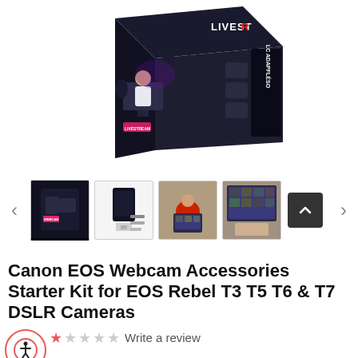[Figure (photo): Main product image: Canon EOS Webcam Accessories Starter Kit box shown at an angle, featuring a person sitting at a desk with monitors in a dark studio environment. The box is black with 'LIVESTR' visible on the side.]
[Figure (photo): Thumbnail 1: Front-facing product box image showing a small dark box with pink/magenta and white design elements.]
[Figure (photo): Thumbnail 2: Product box with accessories laid out beside it on a white background.]
[Figure (photo): Thumbnail 3: Person in red shirt using a laptop at a desk, appears to be in a video call displayed on laptop screen.]
[Figure (photo): Thumbnail 4: Person using laptop showing a video conferencing interface with multiple participants visible on a monitor behind.]
Canon EOS Webcam Accessories Starter Kit for EOS Rebel T3 T5 T6 & T7 DSLR Cameras
Write a review